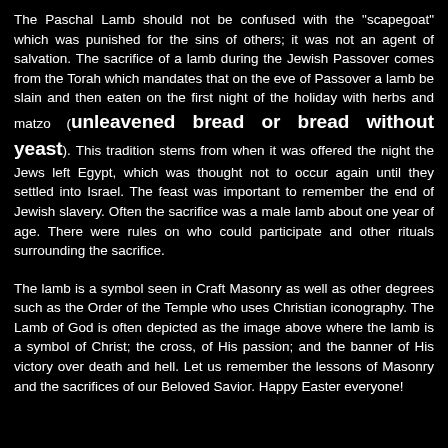The Paschal Lamb should not be confused with the "scapegoat" which was punished for the sins of others; it was not an agent of salvation. The sacrifice of a lamb during the Jewish Passover comes from the Torah which mandates that on the eve of Passover a lamb be slain and then eaten on the first night of the holiday with herbs and matzo (unleavened bread or bread without yeast). This tradition stems from when it was offered the night the Jews left Egypt, which was thought not to occur again until they settled into Israel. The feast was important to remember the end of Jewish slavery. Often the sacrifice was a male lamb about one year of age. There were rules on who could participate and other rituals surrounding the sacrifice.
The lamb is a symbol seen in Craft Masonry as well as other degrees such as the Order of the Temple who uses Christian iconography. The Lamb of God is often depicted as the image above where the lamb is a symbol of Christ; the cross, of His passion; and the banner of His victory over death and hell. Let us remember the lessons of Masonry and the sacrifices of our Beloved Savior. Happy Easter everyone!